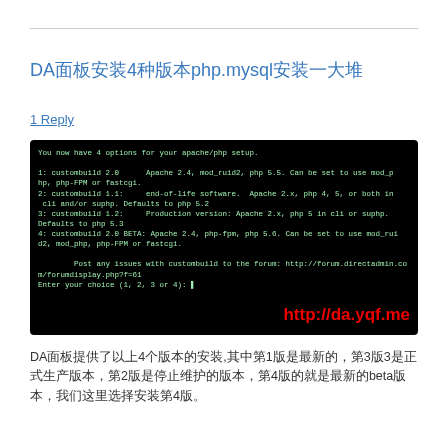DA面板安装4种版本php.mysql安装一大堆
1 Reply
[Figure (screenshot): Terminal screenshot showing apache/php setup options. Text: You now have 4 options for your apache/php setup. 1: custombuild 2.0  Apache 2.4, mod_ruid2, php 5.5. Can be set to use mod_php, php-FPM or fastcgi. 2: custombuild 1.1:  end-of-life software. Apache 2.x, php 4, 5, or both in cli and/or suphp. Defaults to php 5.2 3: custombuild 1.2:  Production version: Apache 2.x, php 5 in cli or suphp. Defaults to php 5.3 4: custombuild 2.0 BETA: Apache 2.4, php-fpm, php 5.6. Can be set to use mod_ruid2, mod_php, php-FPM or fastcgi. Post any issues with custombuild to the forum: http://forum.directadmin.com/forumdisplay.php?f=61 Enter your choice (1, 2, 3 or 4): | http://da.yqf.me]
DA面板提供了以上4个版本的安装,其中第1版是最新的，第3版3是正式生产版本，第2版是停止维护的版本，第4版的就是最新的beta版本，我们这里选择安装第4版。